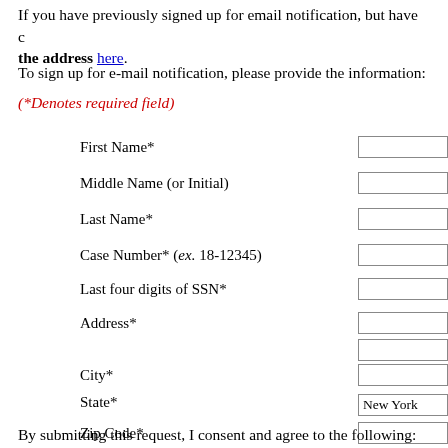If you have previously signed up for email notification, but have changed the address here.
To sign up for e-mail notification, please provide the information:
(*Denotes required field)
First Name*
Middle Name (or Initial)
Last Name*
Case Number* (ex. 18-12345)
Last four digits of SSN*
Address*
City*
State*
Zip Code*
Home or Cell Phone Number* (ex. xxx-xxx-xxxx)
Internet E-mail Address*
(Only one permitted)
By submitting this request, I consent and agree to the following: